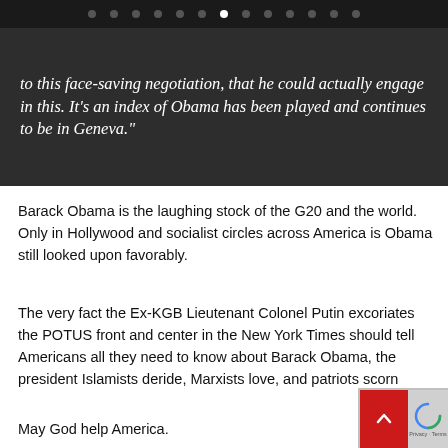navigation dots
to this face-saving negotiation, that he could actually engage in this. It's an index of Obama has been played and continues to be in Geneva."
Barack Obama is the laughing stock of the G20 and the world. Only in Hollywood and socialist circles across America is Obama still looked upon favorably.
The very fact the Ex-KGB Lieutenant Colonel Putin excoriates the POTUS front and center in the New York Times should tell Americans all they need to know about Barack Obama, the president Islamists deride, Marxists love, and patriots scorn
May God help America.